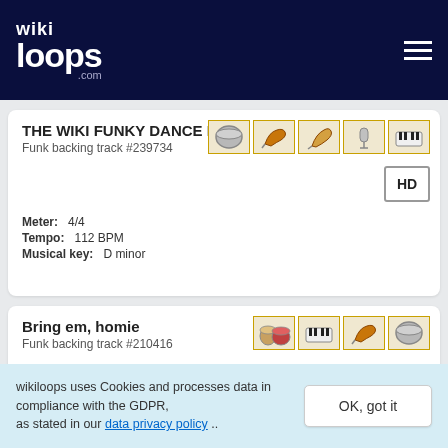wikiloops.com
THE WIKI FUNKY DANCE BAND
Funk backing track #239734
Meter: 4/4
Tempo: 112 BPM
Musical key: D minor
Bring em, homie
Funk backing track #210416
wikiloops uses Cookies and processes data in compliance with the GDPR, as stated in our data privacy policy ..